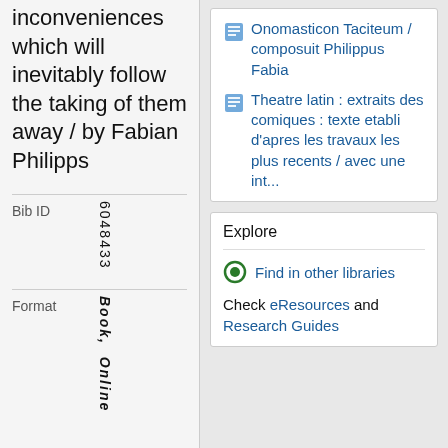inconveniences which will inevitably follow the taking of them away / by Fabian Philipps
Bib ID   6048433
Format   Book, Online
Onomasticon Taciteum / composuit Philippus Fabia
Theatre latin : extraits des comiques : texte etabli d'apres les travaux les plus recents / avec une int...
Explore
Find in other libraries
Check eResources and Research Guides